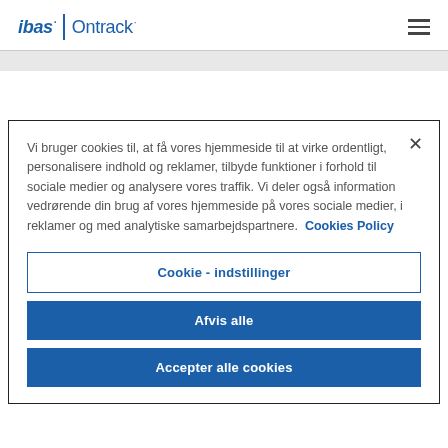[Figure (logo): ibas | Ontrack logo in blue with italic ibas, divider line, and regular Ontrack text]
Vi bruger cookies til, at få vores hjemmeside til at virke ordentligt, personalisere indhold og reklamer, tilbyde funktioner i forhold til sociale medier og analysere vores traffik. Vi deler også information vedrørende din brug af vores hjemmeside på vores sociale medier, i reklamer og med analytiske samarbejdspartnere. Cookies Policy
Cookie - indstillinger
Afvis alle
Accepter alle cookies